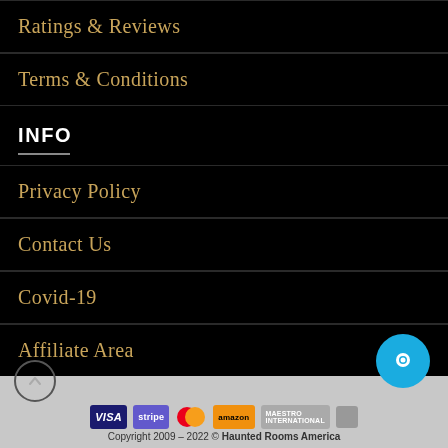Ratings & Reviews
Terms & Conditions
INFO
Privacy Policy
Contact Us
Covid-19
Affiliate Area
[Figure (other): Payment method logos: VISA, stripe, Mastercard, amazon, maestro, and another logo. A scroll-to-top circle button and a teal chat button.]
Copyright 2009 – 2022 © Haunted Rooms America